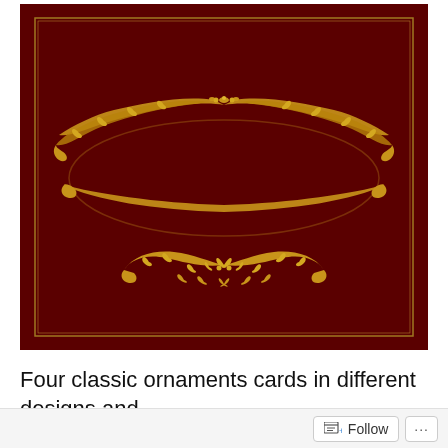[Figure (illustration): A dark crimson/maroon decorative card with a golden ornamental floral border frame. The top portion features an elaborate oval-shaped golden filigree frame made of scrolling vines, leaves and flourishes. Below it is a second smaller golden ornamental flourish design with scrollwork and leaves. The card has a thin golden rectangular border near the edges.]
Four classic ornaments cards in different designs and
Follow ···